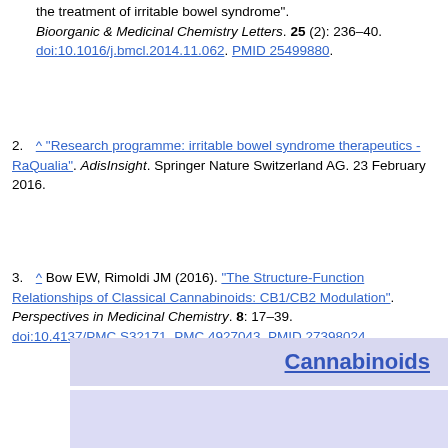(continuation) Bioorganic & Medicinal Chemistry Letters. 25 (2): 236–40. doi:10.1016/j.bmcl.2014.11.062. PMID 25499880.
2. ^ "Research programme: irritable bowel syndrome therapeutics - RaQualia". AdisInsight. Springer Nature Switzerland AG. 23 February 2016.
3. ^ Bow EW, Rimoldi JM (2016). "The Structure-Function Relationships of Classical Cannabinoids: CB1/CB2 Modulation". Perspectives in Medicinal Chemistry. 8: 17–39. doi:10.4137/PMC.S32171. PMC 4927043. PMID 27398024.
Cannabinoids